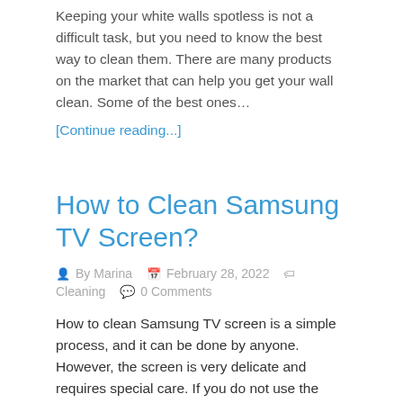Keeping your white walls spotless is not a difficult task, but you need to know the best way to clean them. There are many products on the market that can help you get your wall clean. Some of the best ones…
[Continue reading...]
How to Clean Samsung TV Screen?
By Marina   February 28, 2022   Cleaning   0 Comments
How to clean Samsung TV screen is a simple process, and it can be done by anyone. However, the screen is very delicate and requires special care. If you do not use the proper cleaning solution, you might damage the seal…
[Continue reading...]